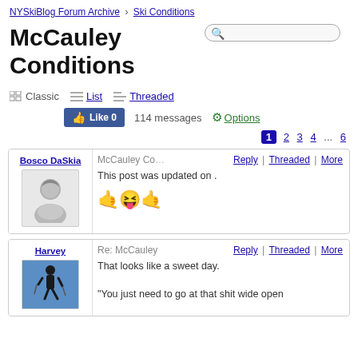NYSkiBlog Forum Archive > Ski Conditions
McCauley Conditions
Classic | List | Threaded
Like 0   114 messages   Options   1 2 3 4 ... 6
Bosco DaSkia
McCauley Co  Reply | Threaded | More
This post was updated on .
[emoji]
Harvey
Re: McCauley  Reply | Threaded | More
That looks like a sweet day.
"You just need to go at that shit wide open